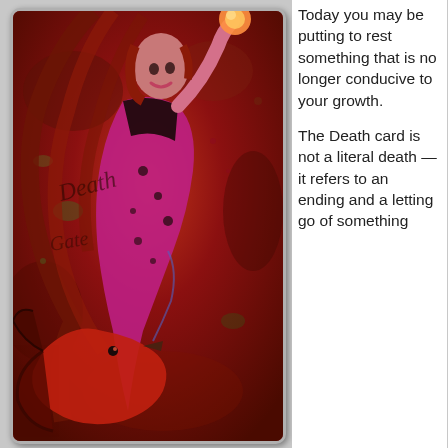[Figure (illustration): A tarot card illustration showing a woman with long flowing red hair holding a glowing orb aloft, wearing a red and purple patterned dress, with a large dark bird (raven/eagle) at her feet, set against a red textured background with decorative calligraphic text elements]
Today you may be putting to rest something that is no longer conducive to your growth.

The Death card is not a literal death — it refers to an ending and a letting go of something